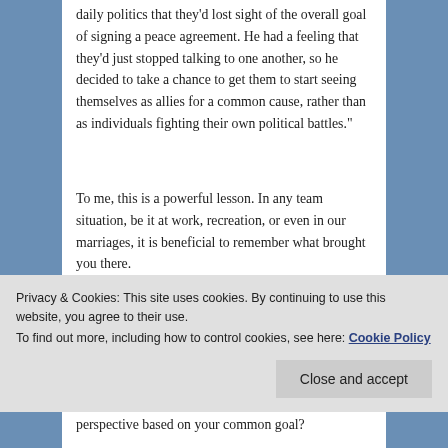daily politics that they'd lost sight of the overall goal of signing a peace agreement. He had a feeling that they'd just stopped talking to one another, so he decided to take a chance to get them to start seeing themselves as allies for a common cause, rather than as individuals fighting their own political battles."
To me, this is a powerful lesson. In any team situation, be it at work, recreation, or even in our marriages, it is beneficial to remember what brought you there.
Why are you serving on that committee?
Why did you apply for that job?
Privacy & Cookies: This site uses cookies. By continuing to use this website, you agree to their use.
To find out more, including how to control cookies, see here: Cookie Policy
Close and accept
perspective based on your common goal?